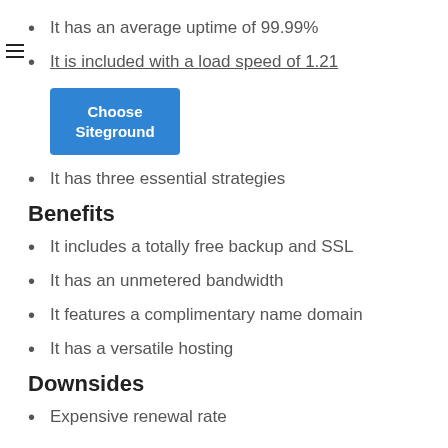It has an average uptime of 99.99%
It is included with a load speed of 1.21
[Figure (other): Blue 'Choose Siteground' button]
It has three essential strategies
Benefits
It includes a totally free backup and SSL
It has an unmetered bandwidth
It features a complimentary name domain
It has a versatile hosting
Downsides
Expensive renewal rate